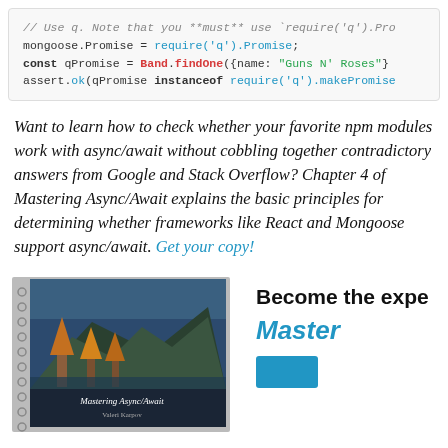[Figure (screenshot): Code block showing mongoose/q promise usage with syntax highlighting]
Want to learn how to check whether your favorite npm modules work with async/await without cobbling together contradictory answers from Google and Stack Overflow? Chapter 4 of Mastering Async/Await explains the basic principles for determining whether frameworks like React and Mongoose support async/await. Get your copy!
[Figure (photo): Book cover of Mastering Async/Await with spiral binding and mountain landscape photo]
Become the expe... Master...